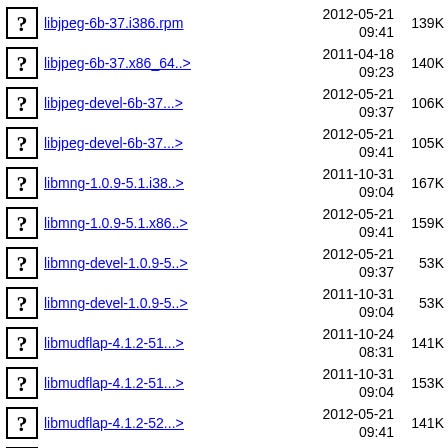libjpeg-6b-37.i386.rpm  2012-05-21 09:41  139K
libjpeg-6b-37.x86_64..>  2011-04-18 09:23  140K
libjpeg-devel-6b-37...>  2012-05-21 09:37  106K
libjpeg-devel-6b-37...>  2012-05-21 09:41  105K
libmng-1.0.9-5.1.i38..>  2011-10-31 09:04  167K
libmng-1.0.9-5.1.x86..>  2012-05-21 09:41  159K
libmng-devel-1.0.9-5..>  2012-05-21 09:37  53K
libmng-devel-1.0.9-5..>  2011-10-31 09:04  53K
libmudflap-4.1.2-51...>  2011-10-24 08:31  141K
libmudflap-4.1.2-51...>  2011-10-31 09:04  153K
libmudflap-4.1.2-52...>  2012-05-21 09:41  141K
libmudflap (partial)  2012-05-21